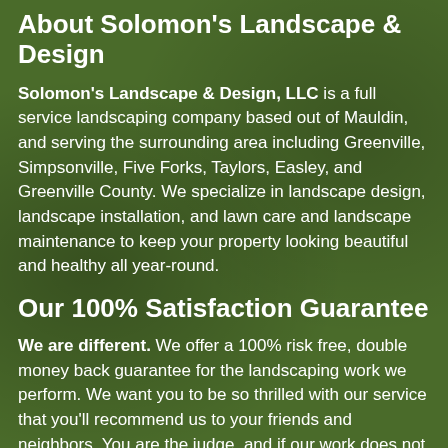About Solomon's Landscape & Design
Solomon's Landscape & Design, LLC is a full service landscaping company based out of Mauldin, and serving the surrounding area including Greenville, Simpsonville, Five Forks, Taylors, Easley, and Greenville County. We specialize in landscape design, landscape installation, and lawn care and landscape maintenance to keep your property looking beautiful and healthy all year-round.
Our 100% Satisfaction Guarantee
We are different. We offer a 100% risk free, double money back guarantee for the landscaping work we perform. We want you to be so thrilled with our service that you'll recommend us to your friends and neighbors. You are the judge, and if our work does not exceed your expectations, we will refund the entire amount of the job.